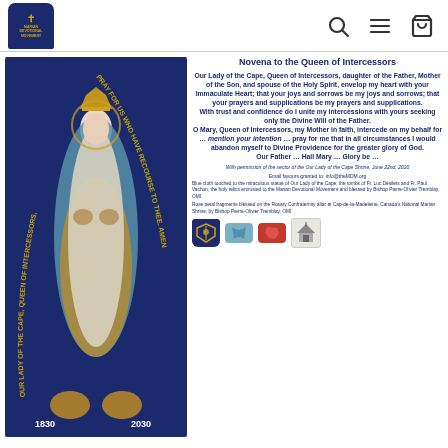Navigation header with logo, search, menu, and cart icons
[Figure (photo): Statue of Our Lady of the Cape, Queen of Intercessors, on dark blue background with arc text reading OUR LADY OF THE CAPE, QUEEN OF INTERCESSORS, PRAY FOR US WHO HAVE RECOURSE TO THEE, AMEN. Dates 1830-2030 at the bottom.]
Novena to the Queen of Intercessors
Our Lady of the Cape, Queen of Intercessors, daughter of the Father, Mother of the Son, and spouse of the Holy Spirit, envelop my heart with your Immaculate Heart; that your joys and sorrows be my joys and sorrows; that your prayers and supplications be my prayers and supplications. With trust and confidence do I unite my intercessions with yours seeking only the Divine Will of the Father. O Mary, Queen of Intercessors, my Mother in faith, intercede on my behalf for ... mention your intention ... pray for me that in all circumstances I would abandon myself to Divine Providence for the greater glory of God. Our Father ... Hail Mary ... Glory be ...
With permission of the sector of the Our Lady of the Cape Shrine, June 22nd, 2020
Email favours granted to: info@theMDM.org
Blue cloth touched to the miraculous statue of Our Lady of the Cape; the tombs of Fr. Luc Désilets and Fr. Paul Vachon; the holy relics entrusted to the Marian Devotional Movement and blessed by Bishop Pierre-Olivier Tremblay, OMI.
Rose petal fragments blessed on the Rosary Confraternity altar at Cap-de-la-Madeleine, Canada's National Marian Shrine, by Bishop Pierre-Olivier Tremblay, OMI.
[Figure (logo): Four small icons: Marian Devotional Movement logo, blue cloth, red France-shaped cloth, and shrine building icon]